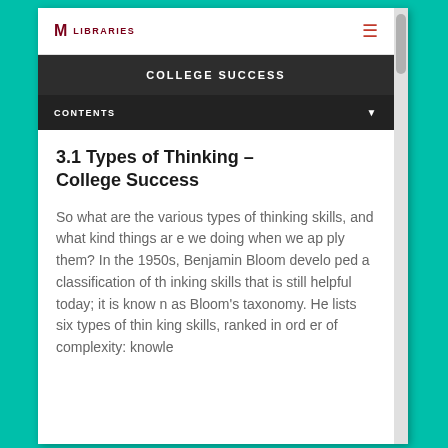M LIBRARIES
COLLEGE SUCCESS
CONTENTS
3.1 Types of Thinking – College Success
So what are the various types of thinking skills, and what kind things are we doing when we apply them? In the 1950s, Benjamin Bloom developed a classification of thinking skills that is still helpful today; it is known as Bloom's taxonomy. He lists six types of thinking skills, ranked in order of complexity: knowle